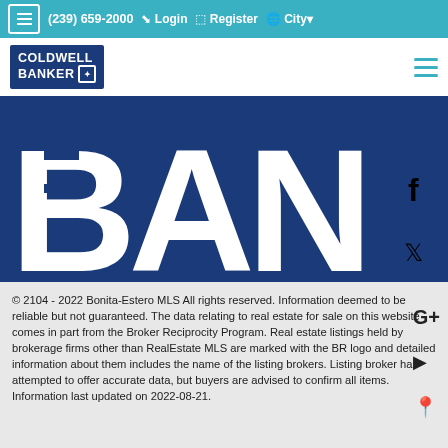(239) 659-2000  Login  Register  City
[Figure (logo): Coldwell Banker logo in dark blue with menu icon on right]
[Figure (illustration): Large dark blue banner showing partial text 'BAN' in white block letters with Facebook and Twitter social icons on the right side]
© 2104 - 2022 Bonita-Estero MLS All rights reserved. Information deemed to be reliable but not guaranteed. The data relating to real estate for sale on this website comes in part from the Broker Reciprocity Program. Real estate listings held by brokerage firms other than RealEstate MLS are marked with the BR logo and detailed information about them includes the name of the listing brokers. Listing broker has attempted to offer accurate data, but buyers are advised to confirm all items. Information last updated on 2022-08-21.